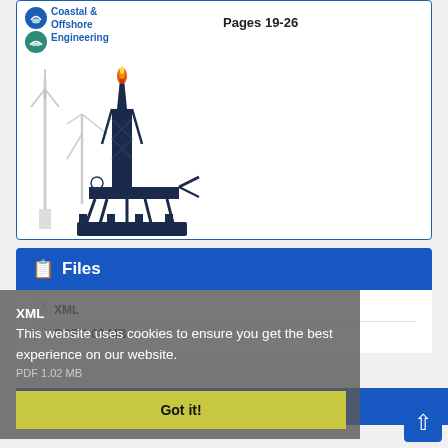[Figure (illustration): Journal cover for Coastal & Offshore Engineering showing an offshore oil platform with a flare flame, wind turbine silhouette, and construction crane against white background. Journal logos (two circular icons) and title text visible at top left of cover.]
Pages 19-26
Files
XML
PDF 1.02 MB
Share
This website uses cookies to ensure you get the best experience on our website.
Got it!